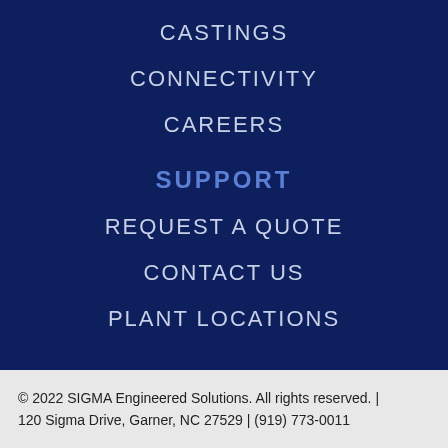CASTINGS
CONNECTIVITY
CAREERS
SUPPORT
REQUEST A QUOTE
CONTACT US
PLANT LOCATIONS
© 2022 SIGMA Engineered Solutions. All rights reserved. | 120 Sigma Drive, Garner, NC 27529 | (919) 773-0011